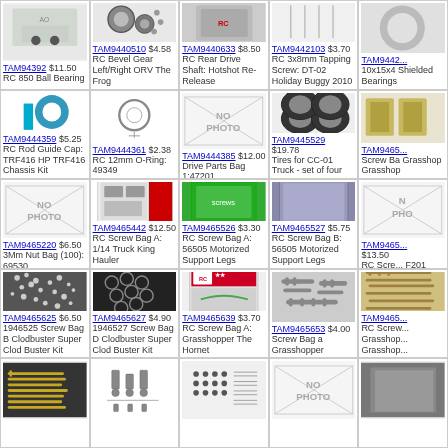[Figure (photo): RC 850 Ball Bearing product image]
TAM94392 $11.50 RC 850 Ball Bearing
[Figure (photo): RC Bevel Gear Left/Right ORV The Frog product image]
TAM9440510 $4.58 RC Bevel Gear Left/Right ORV The Frog
[Figure (photo): RC Rear Drive Shaft Hotshot Re-Release product image]
TAM9440633 $8.50 RC Rear Drive Shaft: Hotshot Re-Release
TAM9442103 $3.70 RC 3x8mm Tapping Screw: DT-02 Holiday Buggy 2010
TAM9442... 10x15x4 Shielded Bearings
[Figure (photo): RC Rod Guide Cap TRF416 HP product image]
TAM9444359 $5.25 RC Rod Guide Cap: TRF416 HP TRF416 Chassis Kit
[Figure (photo): RC 12mm O-Ring 49349 product image]
TAM9444361 $2.38 RC 12mm O-Ring: 49349
[Figure (other): No photo placeholder]
TAM9444385 $12.00 Drive Parts Bag 1:47201
[Figure (photo): Tires for CC-01 Truck product image]
TAM9445529 $19.78 Tires for CC-01 Truck - set of four
TAM9465... Screw Bag Grasshop...
[Figure (other): No photo placeholder]
TAM9465220 $6.50 3Mm Nut Bag (100): 69530
[Figure (photo): RC Screw Bag A 1/14 Truck King Hauler product image]
TAM9465442 $12.50 RC Screw Bag A: 1/14 Truck King Hauler
[Figure (photo): RC Screw Bag A 56505 Motorized Support Legs product image]
TAM9465526 $3.30 RC Screw Bag A: 56505 Motorized Support Legs
[Figure (photo): RC Screw Bag B 56505 Motorized Support Legs product image]
TAM9465527 $5.75 RC Screw Bag B: 56505 Motorized Support Legs
TAM9465... $13.50 RC Screw... F201 Fe...
[Figure (photo): 1946525 Screw Bag B Clodbuster Super Clod Buster Kit product image]
TAM9465625 $6.50 1946525 Screw Bag B Clodbuster Super Clod Buster Kit
[Figure (photo): 1946527 Screw Bag D Clodbuster Super Clod Buster Kit product image]
TAM9465627 $4.90 1946527 Screw Bag D Clodbuster Super Clod Buster Kit
[Figure (photo): RC Screw Bag A Grasshopper The Hornet product image]
TAM9465639 $3.70 RC Screw Bag A: Grasshopper The Hornet
[Figure (photo): Screw Bag a Grasshopper product image]
TAM9465653 $4.00 Screw Bag a Grasshopper
TAM9465... RC Screw... Grasshop... Grasshop...